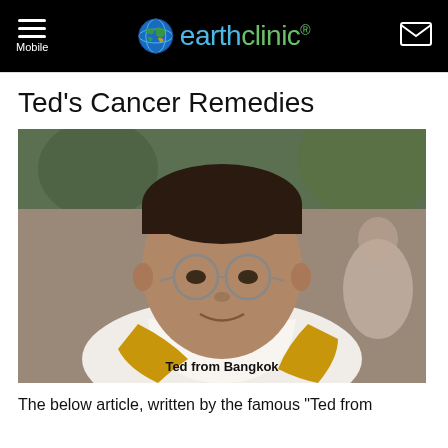earthclinic®
Ted's Cancer Remedies
[Figure (photo): Portrait photo of Ted from Bangkok, a middle-aged Asian man wearing glasses and a white outfit with a gold sash, smiling at the camera. Caption reads 'Ted from Bangkok'.]
The below article, written by the famous "Ted from